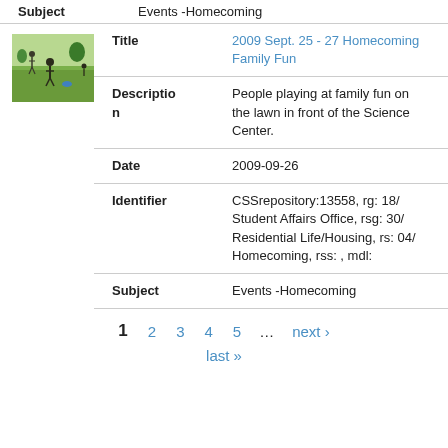| Field | Value |
| --- | --- |
| Subject | Events -Homecoming |
| Title | 2009 Sept. 25 - 27 Homecoming Family Fun |
| Description | People playing at family fun on the lawn in front of the Science Center. |
| Date | 2009-09-26 |
| Identifier | CSSrepository:13558, rg: 18/ Student Affairs Office, rsg: 30/ Residential Life/Housing, rs: 04/ Homecoming, rss: , mdl: |
| Subject | Events -Homecoming |
[Figure (photo): Thumbnail photo of people playing on a lawn in front of a building, homecoming family fun event.]
1  2  3  4  5  …  next › last »